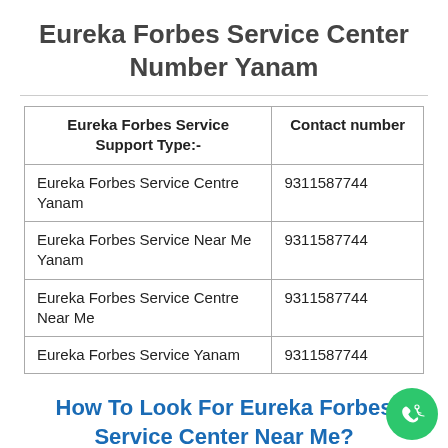Eureka Forbes Service Center Number Yanam
| Eureka Forbes Service Support Type:- | Contact number |
| --- | --- |
| Eureka Forbes Service Centre Yanam | 9311587744 |
| Eureka Forbes Service Near Me Yanam | 9311587744 |
| Eureka Forbes Service Centre Near Me | 9311587744 |
| Eureka Forbes Service Yanam | 9311587744 |
How To Look For Eureka Forbes Service Center Near Me?